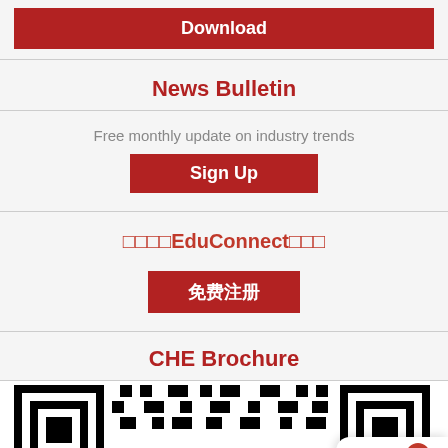[Figure (other): Red Download button at top]
News Bulletin
Free monthly update on industry trends
[Figure (other): Red Sign Up button]
□□□□EduConnect□□□
[Figure (other): Red 免费注册 (Free Register) button]
CHE Brochure
[Figure (other): QR code at the bottom of the page, partially visible. Shopping cart icon overlay with badge showing 0 in top right.]